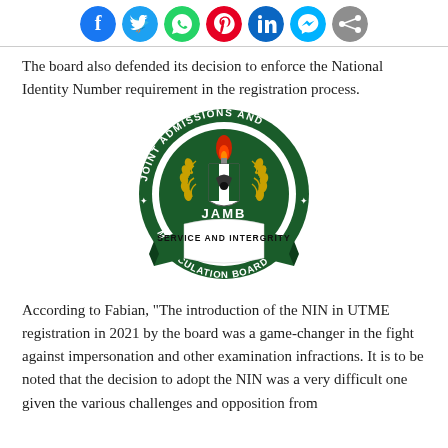[Social media share icons: Facebook, Twitter, WhatsApp, Pinterest, LinkedIn, Messenger, Share]
The board also defended its decision to enforce the National Identity Number requirement in the registration process.
[Figure (logo): JAMB logo — Joint Admissions and Matriculation Board circular green seal with torch emblem, ribbon reading 'SERVICE AND INTERGRITY']
According to Fabian, “The introduction of the NIN in UTME registration in 2021 by the board was a game-changer in the fight against impersonation and other examination infractions. It is to be noted that the decision to adopt the NIN was a very difficult one given the various challenges and opposition from